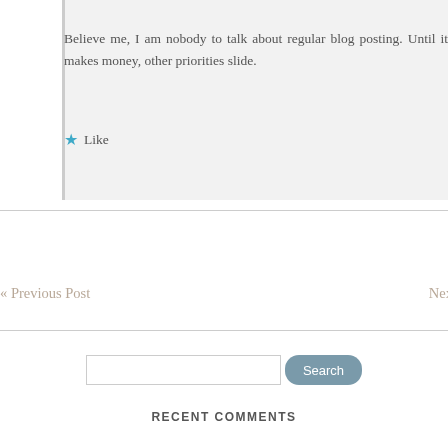Believe me, I am nobody to talk about regular blog posting. Until it makes money, other priorities slide.
★ Like
« Previous Post
Nex
RECENT COMMENTS